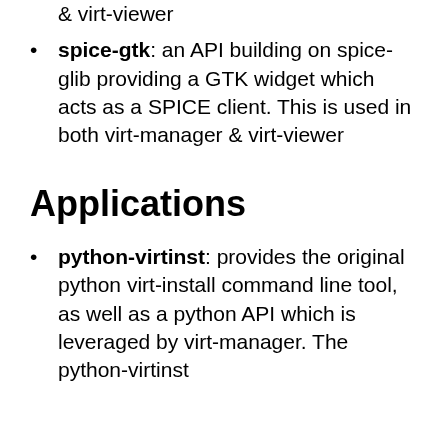spice-gtk: an API building on spice-glib providing a GTK widget which acts as a SPICE client. This is used in both virt-manager & virt-viewer
Applications
python-virtinst: provides the original python virt-install command line tool, as well as a python API which is leveraged by virt-manager. The python-virtinst